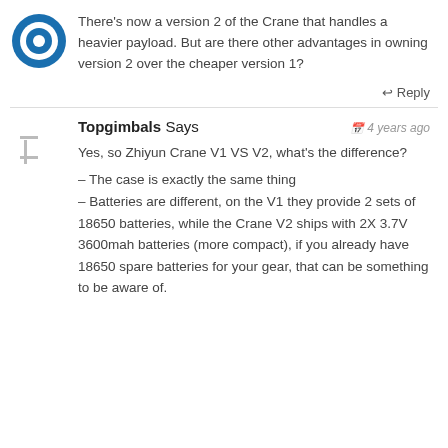[Figure (logo): Blue circular logo/avatar icon]
There's now a version 2 of the Crane that handles a heavier payload. But are there other advantages in owning version 2 over the cheaper version 1?
↩ Reply
[Figure (illustration): Placeholder avatar with horizontal lines]
Topgimbals Says
4 years ago
Yes, so Zhiyun Crane V1 VS V2, what's the difference?
– The case is exactly the same thing
– Batteries are different, on the V1 they provide 2 sets of 18650 batteries, while the Crane V2 ships with 2X 3.7V 3600mah batteries (more compact), if you already have 18650 spare batteries for your gear, that can be something to be aware of.